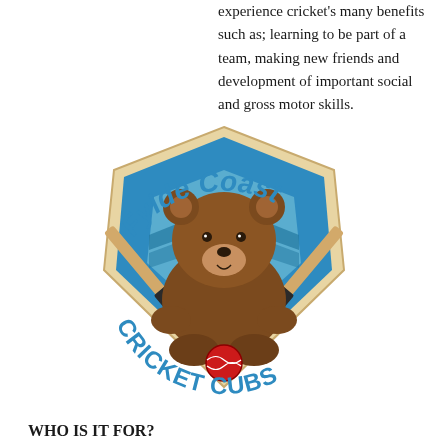experience cricket's many benefits such as; learning to be part of a team, making new friends and development of important social and gross motor skills.
[Figure (logo): Fylde Coast Cricket Cubs logo: a cartoon brown bear cub sitting with a red cricket ball, crossed cricket bats behind, on a blue shield/badge shape. Text 'Fylde Coast' arcs above and 'CRICKET CUBS' arcs below in teal/blue lettering.]
WHO IS IT FOR?